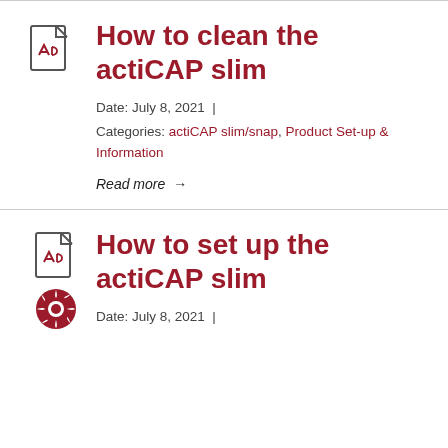How to clean the actiCAP slim
Date: July 8, 2021
Categories: actiCAP slim/snap, Product Set-up & Information
Read more →
How to set up the actiCAP slim
Date: July 8, 2021